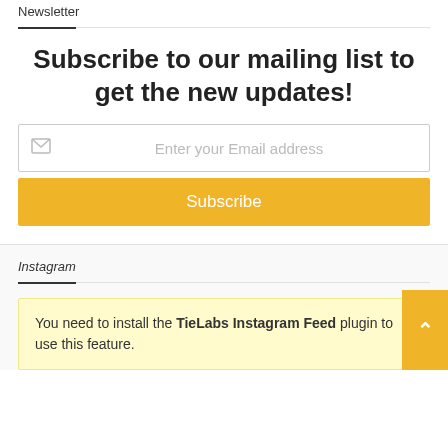Newsletter
Subscribe to our mailing list to get the new updates!
[Figure (screenshot): Email input field with placeholder 'Enter your Email address' and envelope icon]
Subscribe
Instagram
You need to install the TieLabs Instagram Feed plugin to use this feature.